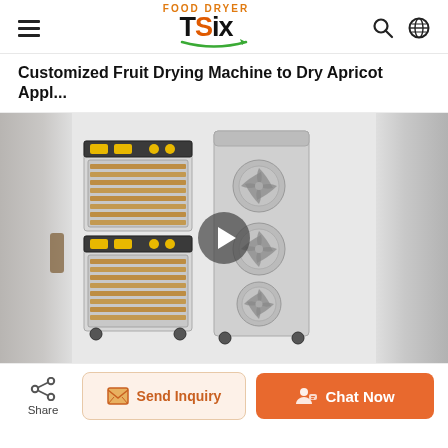Food Dryer TSiX — navigation header with hamburger menu, logo, search and globe icons
Customized Fruit Drying Machine to Dry Apricot Appl...
[Figure (photo): Product video thumbnail showing two food dryer machines side by side: a double-stack dehydrator with yellow control panel and visible trays on the left, and a tall stainless steel cabinet with three fan vents on the right. A play button overlay is shown in the center. Blurred partial images appear on the left and right edges.]
Share | Send Inquiry | Chat Now